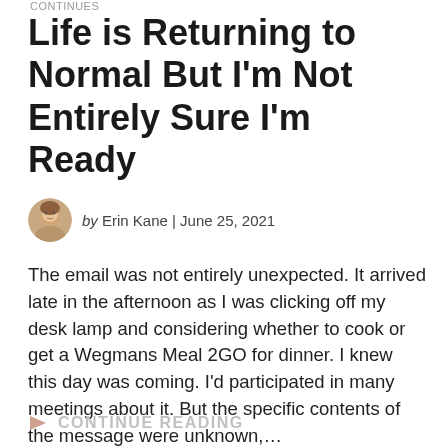CONTINUES
Life is Returning to Normal But I'm Not Entirely Sure I'm Ready
by Erin Kane | June 25, 2021
The email was not entirely unexpected. It arrived late in the afternoon as I was clicking off my desk lamp and considering whether to cook or get a Wegmans Meal 2GO for dinner. I knew this day was coming. I'd participated in many meetings about it. But the specific contents of the message were unknown,…
CONTINUE READING